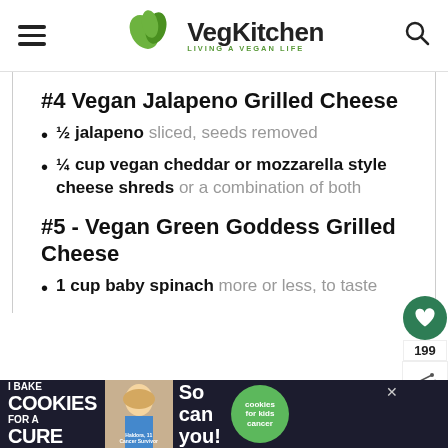VegKitchen — Living a Vegan Life
#4 Vegan Jalapeno Grilled Cheese
½ jalapeno sliced, seeds removed
¼ cup vegan cheddar or mozzarella style cheese shreds or a combination of both
#5 - Vegan Green Goddess Grilled Cheese
1 cup baby spinach more or less, to taste
[Figure (infographic): I Bake COOKIES For A CURE — So can you! advertisement banner with a girl and cookies for kids cancer logo]